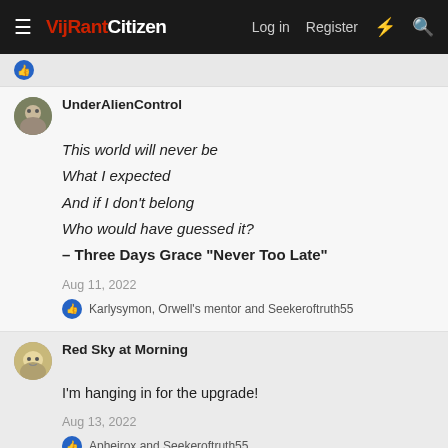VijRant Citizen — Log in  Register
UnderAlienControl
This world will never be
What I expected
And if I don't belong
Who would have guessed it?
– Three Days Grace "Never Too Late"
Aug 11, 2022
Karlysymon, Orwell's mentor and Seekeroftruth55
Red Sky at Morning
I'm hanging in for the upgrade!
Aug 13, 2022
Apheirox and Seekeroftruth55